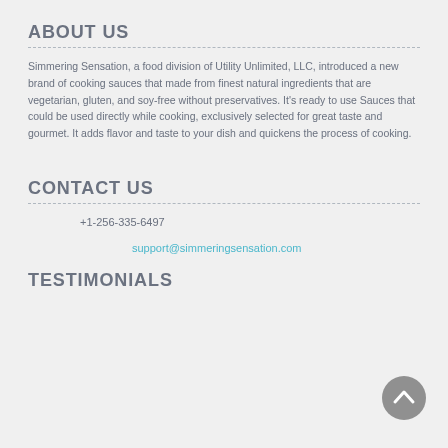ABOUT US
Simmering Sensation, a food division of Utility Unlimited, LLC, introduced a new brand of cooking sauces that made from finest natural ingredients that are vegetarian, gluten, and soy-free without preservatives. It's ready to use Sauces that could be used directly while cooking, exclusively selected for great taste and gourmet. It adds flavor and taste to your dish and quickens the process of cooking.
CONTACT US
+1-256-335-6497
support@simmeringsensation.com
TESTIMONIALS